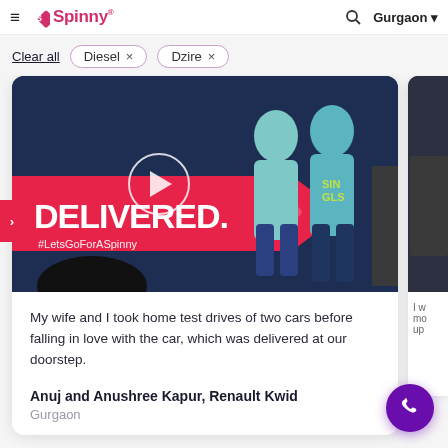Spinny — Gurgaon
Clear all   Diesel ×   Dzire ×
[Figure (photo): Photo of two people standing in front of a Spinny-branded vehicle with text 'DELIVERED. #LetsGoForASpinny' and the Spinny diamond logo. A play button overlay is visible, indicating a video testimonial.]
My wife and I took home test drives of two cars before falling in love with the car, which was delivered at our doorstep.
Anuj and Anushree Kapur, Renault Kwid
Gurgaon